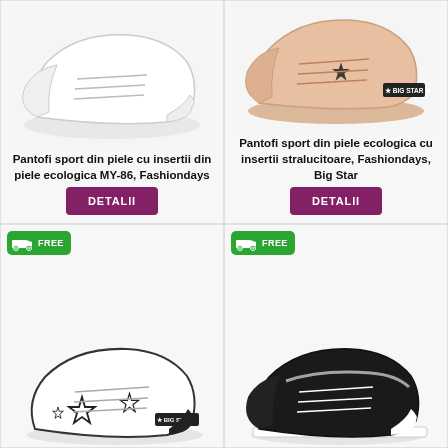[Figure (photo): White sport shoe, top-left product image]
Pantofi sport din piele cu insertii din piele ecologica MY-86, Fashiondays
DETALII
[Figure (photo): Pink sport shoe with Big Star logo, top-right product image]
Pantofi sport din piele ecologica cu insertii stralucitoare, Fashiondays, Big Star
DETALII
[Figure (photo): White sport shoe with star pattern and Big Star logo, bottom-left product image, FREE shipping badge]
[Figure (photo): Black sport shoe, bottom-right product image, FREE shipping badge]